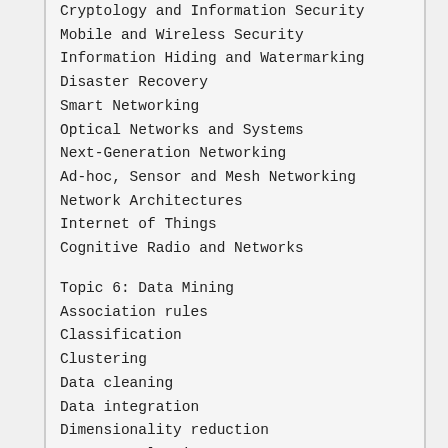Cryptology and Information Security
Mobile and Wireless Security
Information Hiding and Watermarking
Disaster Recovery
Smart Networking
Optical Networks and Systems
Next-Generation Networking
Ad-hoc, Sensor and Mesh Networking
Network Architectures
Internet of Things
Cognitive Radio and Networks
Topic 6: Data Mining
Association rules
Classification
Clustering
Data cleaning
Data integration
Dimensionality reduction
Feature selection
Information system and retrieval
Outlier analysis
Visual data mining